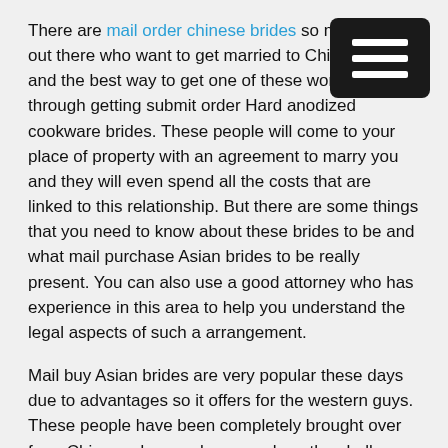There are mail order chinese brides so many guys out there who want to get married to Chinese ladies and the best way to get one of these women through getting submit order Hard anodized cookware brides. These people will come to your place of property with an agreement to marry you and they will even spend all the costs that are linked to this relationship. But there are some things that you need to know about these brides to be and what mail purchase Asian brides to be really present. You can also use a good attorney who has experience in this area to help you understand the legal aspects of such a arrangement.
Mail buy Asian brides are very popular these days due to advantages so it offers for the western guys. These people have been completely brought over from China and several men such as the challenge of getting a foreign girl living in their house. There are many women exactly who are with this position today and if anyone looks at the stats, you will see that there are more Chinese language brides entering the US than those who are American made. That means that many of foreign women are trying to escape and settle down throughout the suggests. It might be hard for you to understand, but once you get a tastes of it, you will understand the attraction that these ladies have for people men. You will also understand that there are many men like you who are able to get